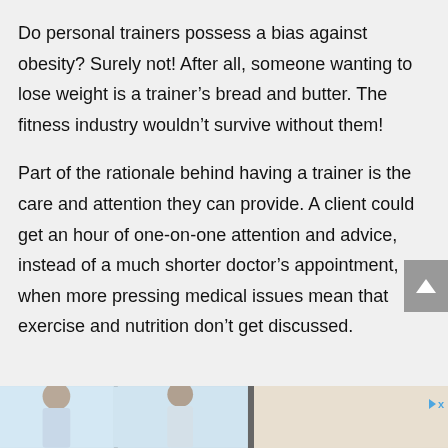Do personal trainers possess a bias against obesity? Surely not! After all, someone wanting to lose weight is a trainer's bread and butter. The fitness industry wouldn't survive without them!
Part of the rationale behind having a trainer is the care and attention they can provide. A client could get an hour of one-on-one attention and advice, instead of a much shorter doctor's appointment, when more pressing medical issues mean that exercise and nutrition don't get discussed.
[Figure (photo): Bottom strip showing partial images: left portion shows a person (likely in a medical/fitness context) against a light blue background, right portion shows a warm-toned background. An advertisement badge with triangle arrow and 'x' text appears in the bottom right corner.]